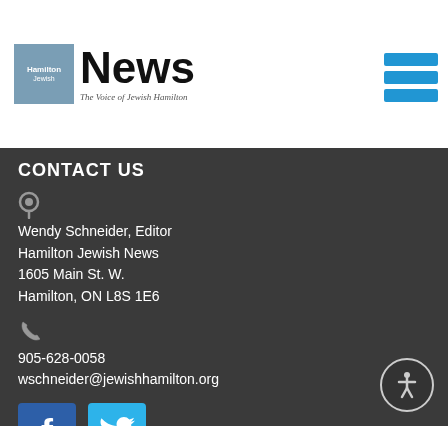Hamilton Jewish News — The Voice of Jewish Hamilton
CONTACT US
Wendy Schneider, Editor
Hamilton Jewish News
1605 Main St. W.
Hamilton, ON L8S 1E6
905-628-0058
wschneider@jewishhamilton.org
[Figure (logo): Facebook logo icon (blue square with white F)]
[Figure (logo): Twitter logo icon (light blue square with white bird)]